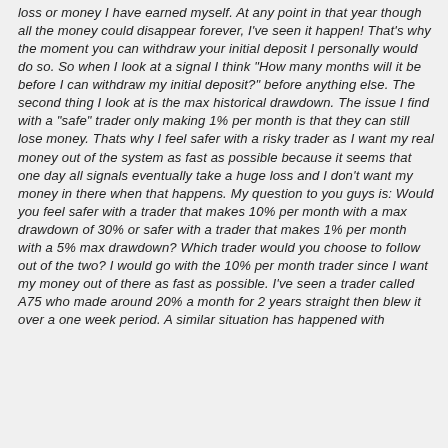loss or money I have earned myself. At any point in that year though all the money could disappear forever, I've seen it happen! That's why the moment you can withdraw your initial deposit I personally would do so. So when I look at a signal I think "How many months will it be before I can withdraw my initial deposit?" before anything else. The second thing I look at is the max historical drawdown. The issue I find with a "safe" trader only making 1% per month is that they can still lose money. Thats why I feel safer with a risky trader as I want my real money out of the system as fast as possible because it seems that one day all signals eventually take a huge loss and I don't want my money in there when that happens. My question to you guys is: Would you feel safer with a trader that makes 10% per month with a max drawdown of 30% or safer with a trader that makes 1% per month with a 5% max drawdown? Which trader would you choose to follow out of the two? I would go with the 10% per month trader since I want my money out of there as fast as possible. I've seen a trader called A75 who made around 20% a month for 2 years straight then blew it over a one week period. A similar situation has happened with